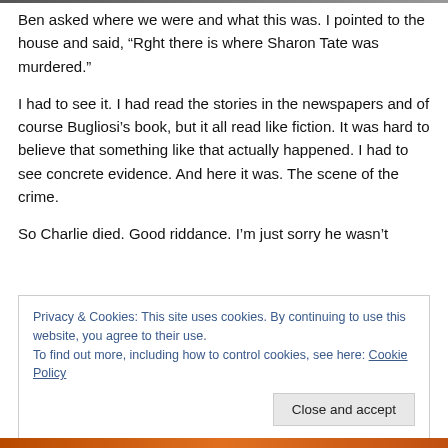Ben asked where we were and what this was. I pointed to the house and said, “Rght there is where Sharon Tate was murdered.”
I had to see it. I had read the stories in the newspapers and of course Bugliosi’s book, but it all read like fiction. It was hard to believe that something like that actually happened. I had to see concrete evidence. And here it was. The scene of the crime.
So Charlie died. Good riddance. I’m just sorry he wasn’t
Privacy & Cookies: This site uses cookies. By continuing to use this website, you agree to their use.
To find out more, including how to control cookies, see here: Cookie Policy
Close and accept